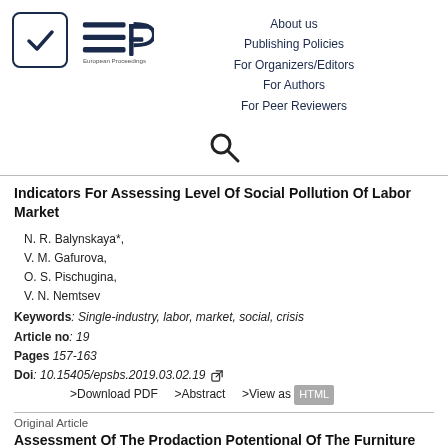[Figure (logo): European Proceedings logo with checkmark in a rounded square and EP symbol with three horizontal lines]
About us
Publishing Policies
For Organizers/Editors
For Authors
For Peer Reviewers
[Figure (other): Search icon (magnifying glass)]
Indicators For Assessing Level Of Social Pollution Of Labor Market
N. R. Balynskaya*,
V. M. Gafurova,
O. S. Pischugina,
V. N. Nemtsev
Keywords: Single-industry, labor, market, social, crisis
Article no: 19
Pages 157-163
Doi: 10.15405/epsbs.2019.03.02.19
>Download PDF   >Abstract   >View as HTML
Original Article
Assessment Of The Prodaction Potentional Of The Furniture Industry Enterprise